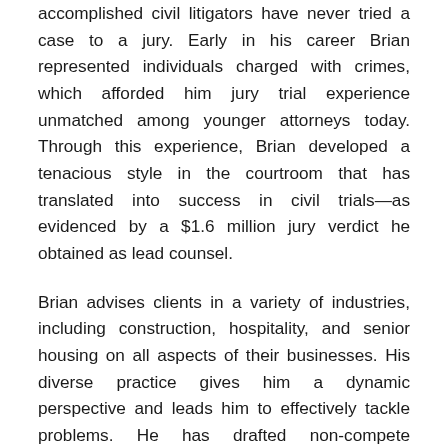accomplished civil litigators have never tried a case to a jury. Early in his career Brian represented individuals charged with crimes, which afforded him jury trial experience unmatched among younger attorneys today. Through this experience, Brian developed a tenacious style in the courtroom that has translated into success in civil trials—as evidenced by a $1.6 million jury verdict he obtained as lead counsel.
Brian advises clients in a variety of industries, including construction, hospitality, and senior housing on all aspects of their businesses. His diverse practice gives him a dynamic perspective and leads him to effectively tackle problems. He has drafted non-compete agreements, and has also successfully enforced those agreements in court when individuals